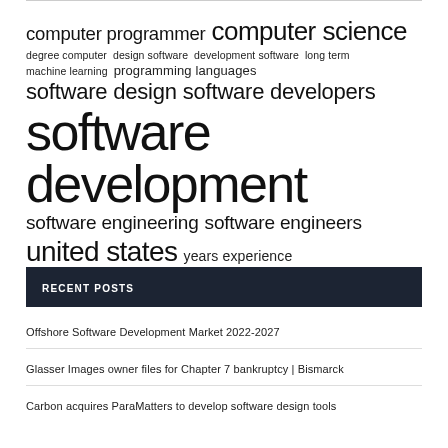[Figure (infographic): Tag cloud with words of varying sizes related to software development: computer programmer, computer science, degree computer, design software, development software, long term, machine learning, programming languages, software design, software developers, software development, software engineering, software engineers, united states, years experience]
RECENT POSTS
Offshore Software Development Market 2022-2027
Glasser Images owner files for Chapter 7 bankruptcy | Bismarck
Carbon acquires ParaMatters to develop software design tools